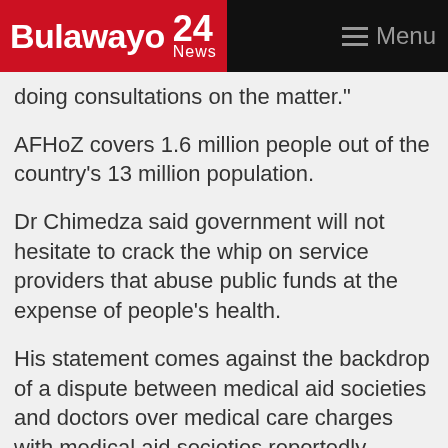Bulawayo 24 News — Menu
doing consultations on the matter."
AFHoZ covers 1.6 million people out of the country's 13 million population.
Dr Chimedza said government will not hesitate to crack the whip on service providers that abuse public funds at the expense of people's health.
His statement comes against the backdrop of a dispute between medical aid societies and doctors over medical care charges with medical aid societies reportedly threatening not pay for visits to general practitioners' rooms by members on general schemes   while doctors intimated on taking legal action.
Since 2008, there has been an impasse between medical aid societies and service providers with regards to cost of